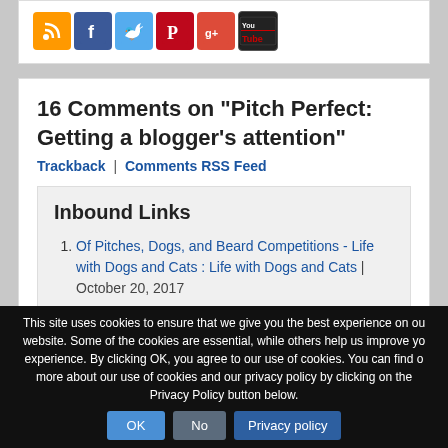[Figure (other): Social media icon buttons: RSS (orange), Facebook (blue), Twitter (light blue), Pinterest (red), Google+ (orange-red), YouTube (dark with red logo)]
16 Comments on "Pitch Perfect: Getting a blogger's attention"
Trackback | Comments RSS Feed
Inbound Links
Of Pitches, Dogs, and Beard Competitions - Life with Dogs and Cats : Life with Dogs and Cats | October 20, 2017
This site uses cookies to ensure that we give you the best experience on our website. Some of the cookies are essential, while others help us improve your experience. By clicking OK, you agree to our use of cookies. You can find out more about our use of cookies and our privacy policy by clicking on the Privacy Policy button below.